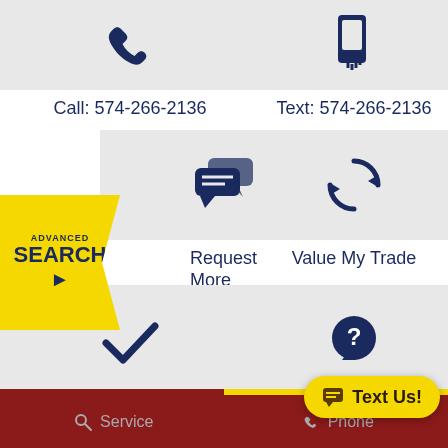[Figure (screenshot): Dealership contact/action grid with 6 cells: Call, Text, Request More Info, Value My Trade, Get Pre-Approved, FAQs. Yellow Advanced Search badge on left. Dark red footer with Service and Phone links. Yellow Text Us button.]
Call: 574-266-2136
Text: 574-266-2136
Request More Info
Value My Trade
Get Pre-Approved
FAQs
ADVANCED SEARCH
Service   Phone
Text Us!